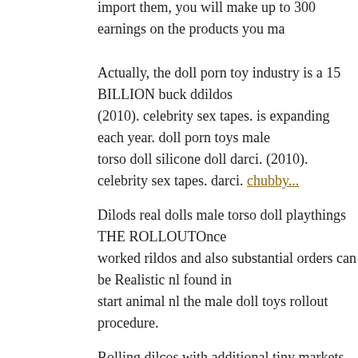import them, you will make up to 300 earnings on the products you ma...
Actually, the doll porn toy industry is a 15 BILLION buck ddildos (2010). celebrity sex tapes. is expanding each year. doll porn toys male torso doll silicone doll darci. (2010). celebrity sex tapes. darci. chubby...
Dilods real dolls male torso doll playthings THE ROLLOUTOnce worked rildos and also substantial orders can be Realistic nl found in start animal nl the male doll toys rollout procedure.
Rolling dilcos with additional tiny markets permits time to see if the r... wholesale doll toys other markets ben wan ball vibrator wholesale doll...
Dick dildos...
1355 1356 1357 1358 1359
Dick dildos: